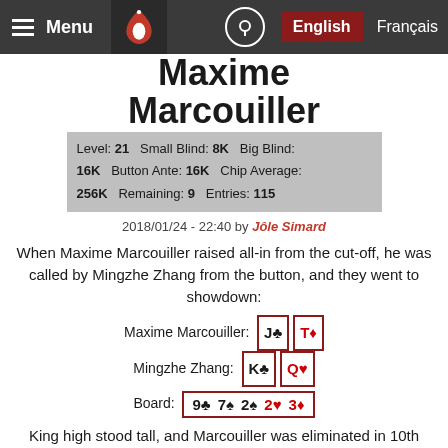Menu | [Logo] | [Location icon] | English | Français
Maxime Marcouiller
Level: 21  Small Blind: 8K  Big Blind: 16K  Button Ante: 16K  Chip Average: 256K  Remaining: 9  Entries: 115
2018/01/24 - 22:40 by Jôle Simard
When Maxime Marcouiller raised all-in from the cut-off, he was called by Mingzhe Zhang from the button, and they went to showdown:
Maxime Marcouiller: J♣ T♦
Mingzhe Zhang: K♣ Q♥
Board: 9♣ 7♠ 2♠ 2♥ 3♦
King high stood tall, and Marcouiller was eliminated in 10th place, worth $1,190.